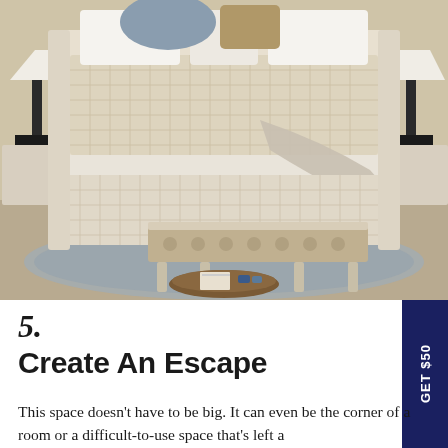[Figure (photo): Elegant bedroom scene featuring a large white cane-panel bed with tufted bench at foot of bed, decorative pillows, neutral linen bedding with draped throw, two nightstands with black lamps, on a blue-grey area rug. A wooden tray with books and small items sits on the floor under the bench.]
5.
Create An Escape
This space doesn't have to be big. It can even be the corner of a room or a difficult-to-use space that's left a